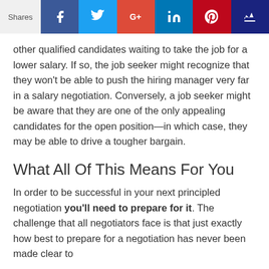Shares [social share bar with Facebook, Twitter, Google+, LinkedIn, Pinterest, Crown icons]
other qualified candidates waiting to take the job for a lower salary. If so, the job seeker might recognize that they won't be able to push the hiring manager very far in a salary negotiation. Conversely, a job seeker might be aware that they are one of the only appealing candidates for the open position—in which case, they may be able to drive a tougher bargain.
What All Of This Means For You
In order to be successful in your next principled negotiation you'll need to prepare for it. The challenge that all negotiators face is that just exactly how best to prepare for a negotiation has never been made clear to